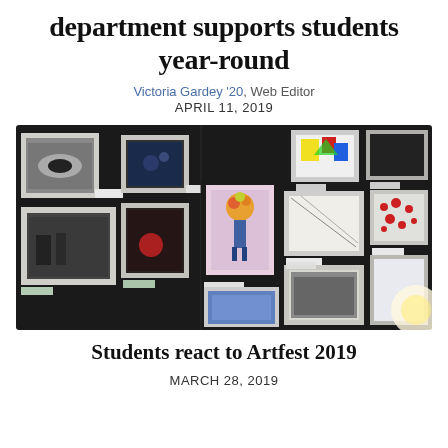department supports students year-round
Victoria Gardey '20, Web Editor
APRIL 11, 2019
[Figure (photo): Photo of an art show display wall covered with student artwork mounted on black boards, featuring various photographs and artworks in white mat frames. Multiple pieces visible including a colorful figure with flowers, black and white photography, and abstract pieces with small labels beside each work.]
Students react to Artfest 2019
MARCH 28, 2019